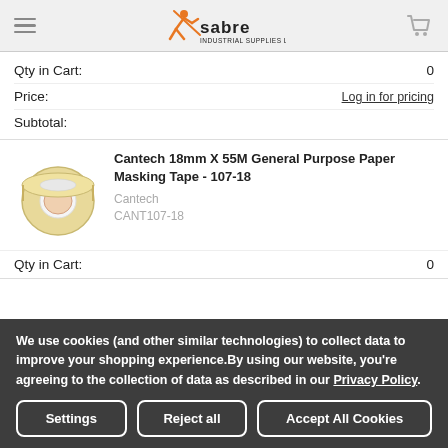[Figure (logo): Sabre Industrial Supplies Ltd. logo with orange figure and text]
Qty in Cart: 0
Price: Log in for pricing
Subtotal:
[Figure (photo): Cantech 18mm x 55M masking tape roll]
Cantech 18mm X 55M General Purpose Paper Masking Tape - 107-18
Cantech
CANT107-18
Qty in Cart: 0
We use cookies (and other similar technologies) to collect data to improve your shopping experience.By using our website, you're agreeing to the collection of data as described in our Privacy Policy.